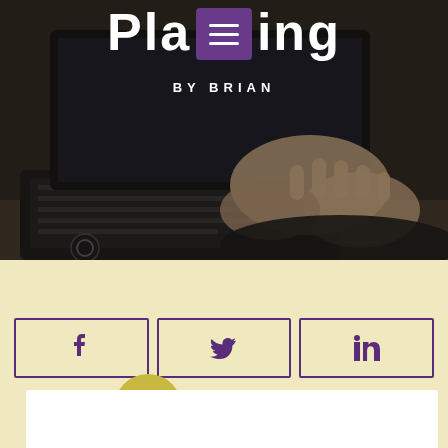[Figure (photo): Hands typing on a laptop keyboard, dark moody photo used as hero/banner image for a blog about planning by Brian]
Planning
BY BRIAN
[Figure (other): Three social share buttons: Facebook, Twitter, LinkedIn, displayed as icon-only bordered boxes on a cream/yellow background]
[Figure (other): Gold circular scroll-to-top button with upward triangle arrow icon]
[Figure (other): White comment/content box at the bottom of the page]